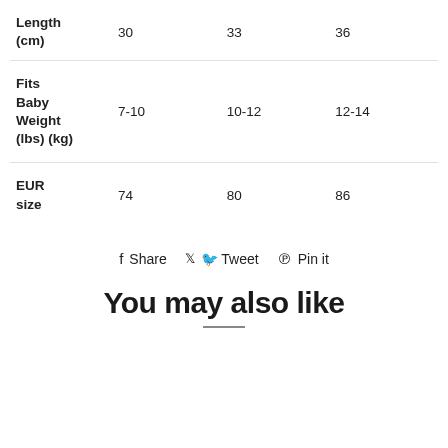|  | Col1 | Col2 | Col3 |
| --- | --- | --- | --- |
| Length (cm) | 30 | 33 | 36 |
| Fits Baby Weight (lbs) (kg) | 7-10 | 10-12 | 12-14 |
| EUR size | 74 | 80 | 86 |
f Share   🐦 Tweet   ℗ Pin it
You may also like